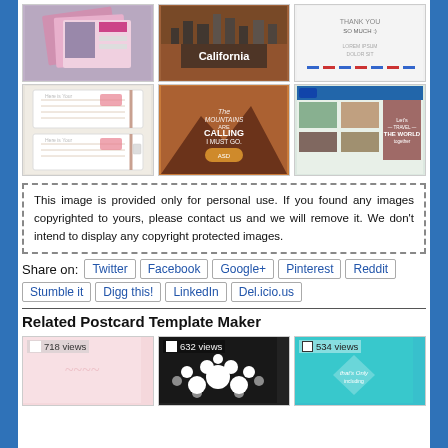[Figure (screenshot): Grid of postcard template thumbnails, row 1: magazine stack, California cityscape postcard, thank you card with stripes]
[Figure (screenshot): Grid of postcard template thumbnails, row 2: lined notebook card, mountain adventure calling typography, Let's Travel the World cards]
This image is provided only for personal use. If you found any images copyrighted to yours, please contact us and we will remove it. We don't intend to display any copyright protected images.
Share on: Twitter | Facebook | Google+ | Pinterest | Reddit | Stumble it | Digg this! | LinkedIn | Del.icio.us
Related Postcard Template Maker
[Figure (screenshot): Bottom row of related postcard thumbnails: 718 views pink card, 632 views dark polka dot card, 534 views teal card]